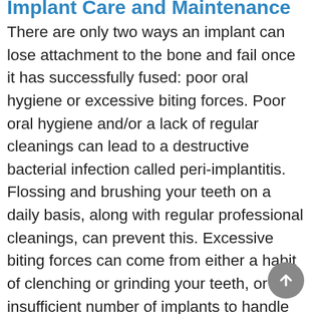Implant Care and Maintenance
There are only two ways an implant can lose attachment to the bone and fail once it has successfully fused: poor oral hygiene or excessive biting forces. Poor oral hygiene and/or a lack of regular cleanings can lead to a destructive bacterial infection called peri-implantitis. Flossing and brushing your teeth on a daily basis, along with regular professional cleanings, can prevent this. Excessive biting forces can come from either a habit of clenching or grinding your teeth, or an insufficient number of implants to handle the forces generated by your bite. You should receive the correct number of implants so this does not happen. And if you have a habit of grinding or clenching your teeth, a